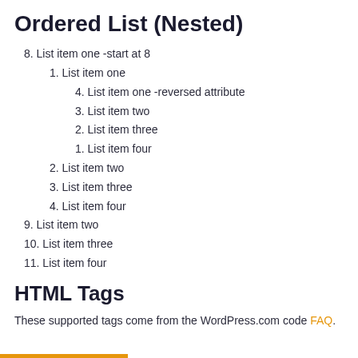Ordered List (Nested)
8. List item one -start at 8
1. List item one
4. List item one -reversed attribute
3. List item two
2. List item three
1. List item four
2. List item two
3. List item three
4. List item four
9. List item two
10. List item three
11. List item four
HTML Tags
These supported tags come from the WordPress.com code FAQ.